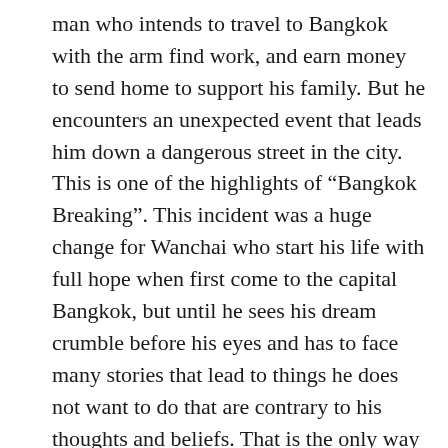man who intends to travel to Bangkok with the arm find work, and earn money to send home to support his family. But he encounters an unexpected event that leads him down a dangerous street in the city. This is one of the highlights of “Bangkok Breaking”. This incident was a huge change for Wanchai who start his life with full hope when first come to the capital Bangkok, but until he sees his dream crumble before his eyes and has to face many stories that lead to things he does not want to do that are contrary to his thoughts and beliefs. That is the only way to find the truth and expose the perpetrators behind it all.
As for Aom Sushar Manaying as Kat, a young and passionate journalist who completely believes journalistic in the opinion of the award-breaking. “Thi...